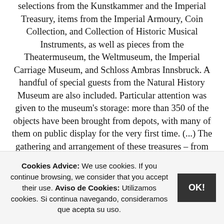selections from the Kunstkammer and the Imperial Treasury, items from the Imperial Armoury, Coin Collection, and Collection of Historic Musical Instruments, as well as pieces from the Theatermuseum, the Weltmuseum, the Imperial Carriage Museum, and Schloss Ambras Innsbruck. A handful of special guests from the Natural History Museum are also included. Particular attention was given to the museum's storage: more than 350 of the objects have been brought from depots, with many of them on public display for the very first time. (...) The gathering and arrangement of these treasures – from the earliest, a necklace of ceramic beads strung together in Ancient Egypt, to the most recent, a wooden monkey carved in Indonesia almost 5,000 years later – suggest the spectacular breadth, depth, history and
Cookies Advice: We use cookies. If you continue browsing, we consider that you accept their use. Aviso de Cookies: Utilizamos cookies. Si continua navegando, consideramos que acepta su uso.